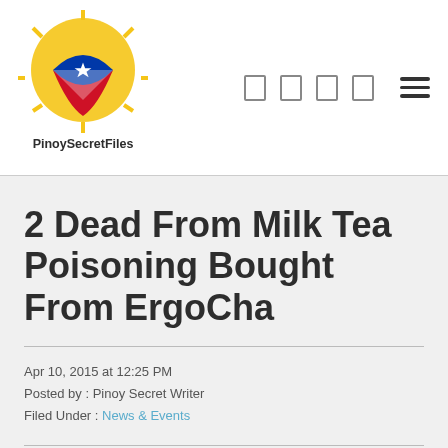PinoySecretFiles
2 Dead From Milk Tea Poisoning Bought From ErgoCha
Apr 10, 2015 at 12:25 PM
Posted by : Pinoy Secret Writer
Filed Under : News & Events